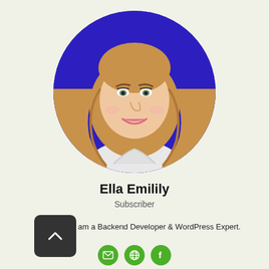[Figure (photo): Circular profile photo of a young woman with long wavy brown hair, smiling, wearing a white top, against a dark blue/purple background.]
Ella Emilily
Subscriber
am a Backend Developer & WordPress Expert.
[Figure (illustration): Row of three green circular social icons: email/envelope, globe/website, and Facebook.]